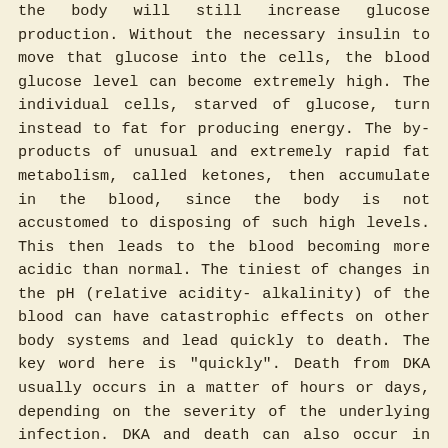the body will still increase glucose production. Without the necessary insulin to move that glucose into the cells, the blood glucose level can become extremely high. The individual cells, starved of glucose, turn instead to fat for producing energy. The by-products of unusual and extremely rapid fat metabolism, called ketones, then accumulate in the blood, since the body is not accustomed to disposing of such high levels. This then leads to the blood becoming more acidic than normal. The tiniest of changes in the pH (relative acidity- alkalinity) of the blood can have catastrophic effects on other body systems and lead quickly to death. The key word here is "quickly". Death from DKA usually occurs in a matter of hours or days, depending on the severity of the underlying infection. DKA and death can also occur in the absence of infection if the Type I diabetes progresses to the point of zero insulin production.
Type I diabetes does appear to have a genetic component, but is not itself 100% genetic. That is, it does tend to run in families, but factors other than genetics also play a role in whether or not someone actually develops Type I diabetes. It would be a little unusual for a cluster of people as closely